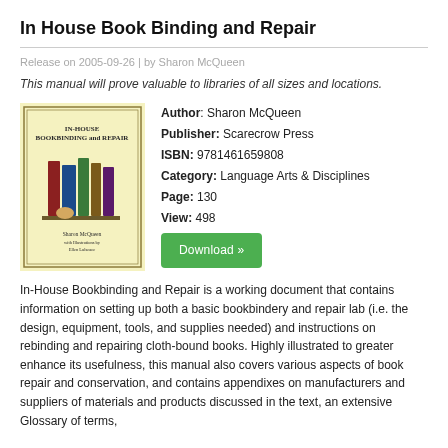In House Book Binding and Repair
Release on 2005-09-26 | by Sharon McQueen
This manual will prove valuable to libraries of all sizes and locations.
[Figure (illustration): Book cover of 'In House Bookbinding and Repair' by Sharon McQueen, illustrated, with decorative border on a light yellow background.]
Author: Sharon McQueen
Publisher: Scarecrow Press
ISBN: 9781461659808
Category: Language Arts & Disciplines
Page: 130
View: 498
Download »
In-House Bookbinding and Repair is a working document that contains information on setting up both a basic bookbindery and repair lab (i.e. the design, equipment, tools, and supplies needed) and instructions on rebinding and repairing cloth-bound books. Highly illustrated to greater enhance its usefulness, this manual also covers various aspects of book repair and conservation, and contains appendixes on manufacturers and suppliers of materials and products discussed in the text, an extensive Glossary of terms, and annotations to World Wide Web Resources and helpful bibliopgraphy.